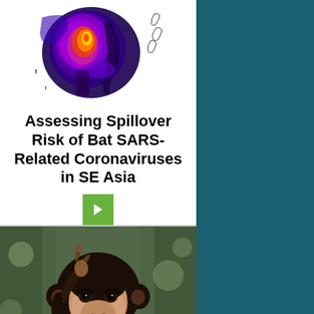[Figure (map): Colorful heat map of Southeast Asia showing bat SARS-related coronavirus spillover risk, with thermal/infrared color scale (purple, blue, green, yellow, orange, red). Map outline shows SE Asian countries including Thailand, Vietnam, Cambodia, Myanmar, Philippines.]
Assessing Spillover Risk of Bat SARS-Related Coronaviruses in SE Asia
[Figure (photo): Close-up photograph of a baby chimpanzee with dark fur on top, lighter face, holding up one hand/finger, looking directly at camera. Green forest background.]